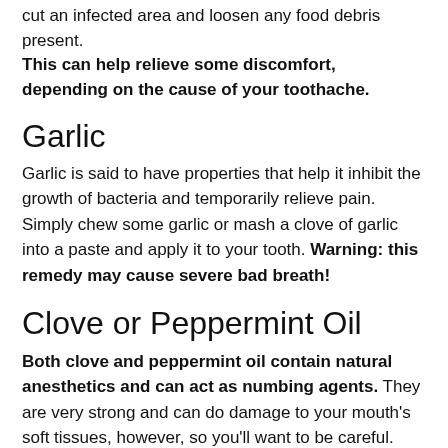cut an infected area and loosen any food debris present. This can help relieve some discomfort, depending on the cause of your toothache.
Garlic
Garlic is said to have properties that help it inhibit the growth of bacteria and temporarily relieve pain. Simply chew some garlic or mash a clove of garlic into a paste and apply it to your tooth. Warning: this remedy may cause severe bad breath!
Clove or Peppermint Oil
Both clove and peppermint oil contain natural anesthetics and can act as numbing agents. They are very strong and can do damage to your mouth's soft tissues, however, so you'll want to be careful. Drip a drop or two of oil onto a cotton ball and apply it to the throbbing tooth.